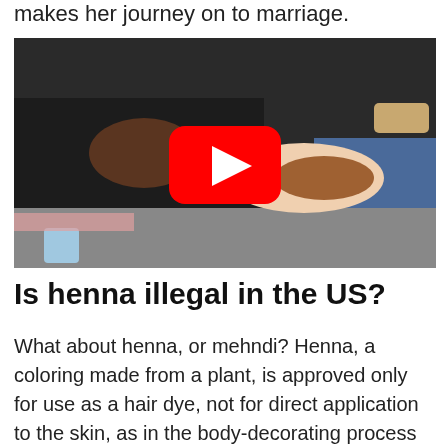makes her journey on to marriage.
[Figure (photo): A YouTube video thumbnail showing a person applying henna (mehndi) to another person's hand, with a red YouTube play button overlay in the center.]
Is henna illegal in the US?
What about henna, or mehndi? Henna, a coloring made from a plant, is approved only for use as a hair dye, not for direct application to the skin, as in the body-decorating process known as mehndi. This unapproved use of a color additive makes